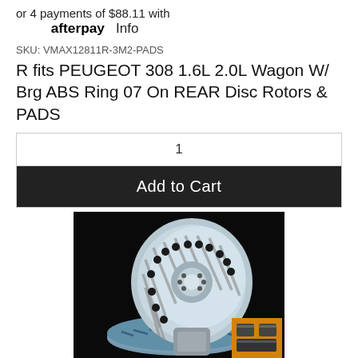or 4 payments of $88.11 with afterpay Info
SKU: VMAX12811R-3M2-PADS
R fits PEUGEOT 308 1.6L 2.0L Wagon W/ Brg ABS Ring 07 On REAR Disc Rotors & PADS
1
Add to Cart
[Figure (photo): Photo of two slotted/drilled brake disc rotors on a dark background with a small inset image of brake pads in the bottom right corner]